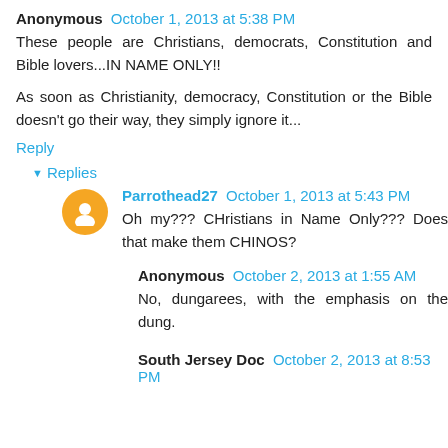Anonymous October 1, 2013 at 5:38 PM
These people are Christians, democrats, Constitution and Bible lovers...IN NAME ONLY!!
As soon as Christianity, democracy, Constitution or the Bible doesn't go their way, they simply ignore it...
Reply
Replies
Parrothead27 October 1, 2013 at 5:43 PM
Oh my??? CHristians in Name Only??? Does that make them CHINOS?
Anonymous October 2, 2013 at 1:55 AM
No, dungarees, with the emphasis on the dung.
South Jersey Doc October 2, 2013 at 8:53 PM